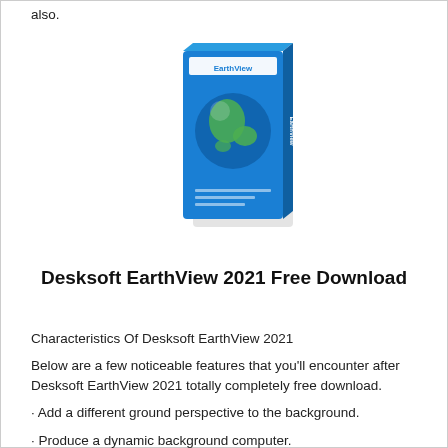also.
[Figure (illustration): Software box for Desksoft EarthView 2021 showing a blue box with a globe image on the front]
Desksoft EarthView 2021 Free Download
Characteristics Of Desksoft EarthView 2021
Below are a few noticeable features that you'll encounter after Desksoft EarthView 2021 totally completely free download.
· Add a different ground perspective to the background.
· Produce a dynamic background computer.